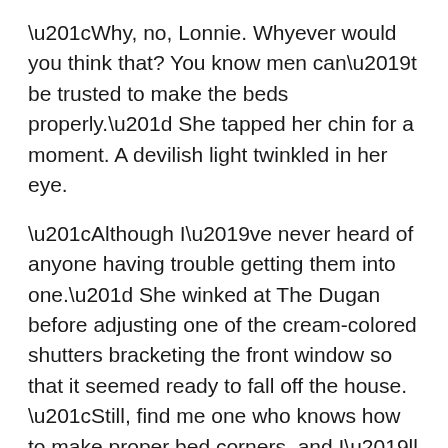“Why, no, Lonnie. Whyever would you think that? You know men can’t be trusted to make the beds properly.” She tapped her chin for a moment. A devilish light twinkled in her eye.
“Although I’ve never heard of anyone having trouble getting them into one.” She winked at The Dugan before adjusting one of the cream-colored shutters bracketing the front window so that it seemed ready to fall off the house. “Still, find me one who knows how to make proper bed corners, and I’ll marry him.”
“You’re already married, Auntie.”
“Well, of course, I’m married, Lonnie. Fifty-three years this May.” A bottle of window cleaner surfaced from her pockets. A few spritzes and a length of cellophane later, the front window looked like it had been shattered. “Mama